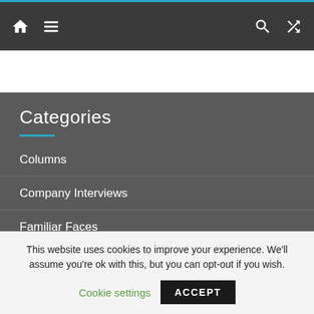Navigation bar with home, menu, search, and shuffle icons
Categories
Columns
Company Interviews
Familiar Faces
IBT 2018
IBT 2019
This website uses cookies to improve your experience. We'll assume you're ok with this, but you can opt-out if you wish. Cookie settings ACCEPT